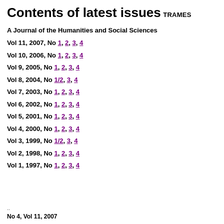Contents of latest issues
TRAMES
A Journal of the Humanities and Social Sciences
Vol 11, 2007, No 1, 2, 3, 4
Vol 10, 2006, No 1, 2, 3, 4
Vol 9, 2005, No 1, 2, 3, 4
Vol 8, 2004, No 1/2, 3, 4
Vol 7, 2003, No 1, 2, 3, 4
Vol 6, 2002, No 1, 2, 3, 4
Vol 5, 2001, No 1, 2, 3, 4
Vol 4, 2000, No 1, 2, 3, 4
Vol 3, 1999, No 1/2, 3, 4
Vol 2, 1998, No 1, 2, 3, 4
Vol 1, 1997, No 1, 2, 3, 4
No 4, Vol 11, 2007